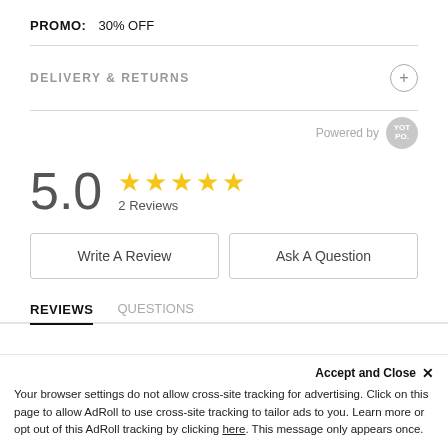PROMO: 30% OFF
DELIVERY & RETURNS
Powered by [Yotpo]
5.0 ★★★★★ 2 Reviews
Write A Review
Ask A Question
REVIEWS   QUESTIONS
Accept and Close ✕
Your browser settings do not allow cross-site tracking for advertising. Click on this page to allow AdRoll to use cross-site tracking to tailor ads to you. Learn more or opt out of this AdRoll tracking by clicking here. This message only appears once.